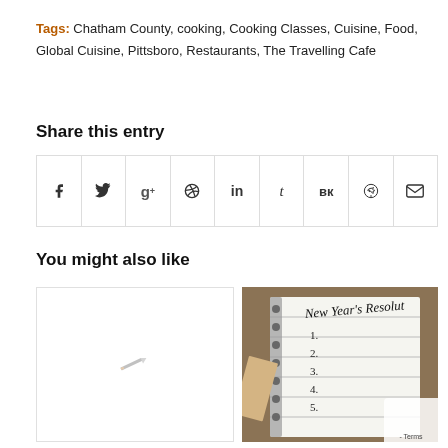Tags: Chatham County, cooking, Cooking Classes, Cuisine, Food, Global Cuisine, Pittsboro, Restaurants, The Travelling Cafe
Share this entry
[Figure (other): Social media share buttons row: Facebook, Twitter, Google+, Pinterest, LinkedIn, Tumblr, VK, Reddit, Email]
You might also like
[Figure (photo): Placeholder image with a small pencil icon in center]
[Figure (photo): Photo of a spiral notebook with 'New Year's Resolutions' written at top and numbered list items 1-5]